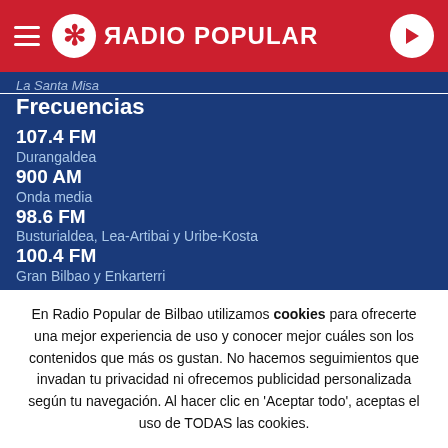RADIO POPULAR
La Santa Misa
Frecuencias
107.4 FM
Durangaldea
900 AM
Onda media
98.6 FM
Busturialdea, Lea-Artibai y Uribe-Kosta
100.4 FM
Gran Bilbao y Enkarterri
En Radio Popular de Bilbao utilizamos cookies para ofrecerte una mejor experiencia de uso y conocer mejor cuáles son los contenidos que más os gustan. No hacemos seguimientos que invadan tu privacidad ni ofrecemos publicidad personalizada según tu navegación. Al hacer clic en 'Aceptar todo', aceptas el uso de TODAS las cookies.
Rechazar y salir | Aceptar todas y continuar | Leer más